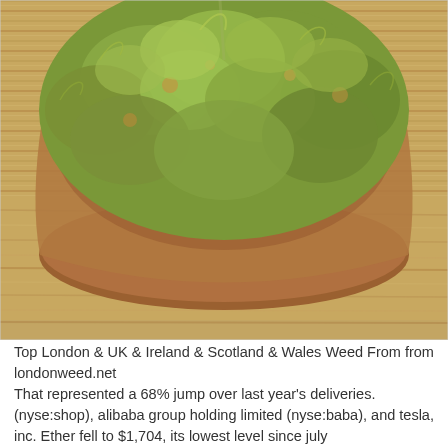[Figure (photo): A brown ceramic bowl filled with cannabis buds/marijuana on a wooden surface]
Top London & UK & Ireland & Scotland & Wales Weed From from londonweed.net
That represented a 68% jump over last year's deliveries.
(nyse:shop), alibaba group holding limited (nyse:baba), and tesla, inc. Ether fell to $1,704, its lowest level since july